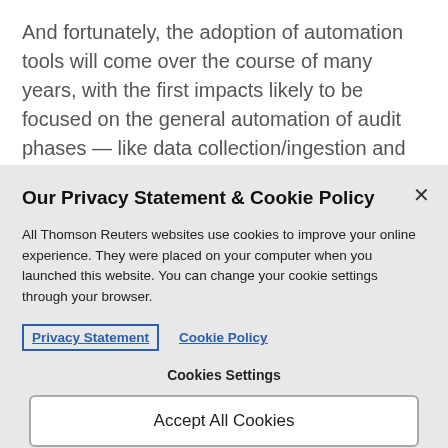And fortunately, the adoption of automation tools will come over the course of many years, with the first impacts likely to be focused on the general automation of audit phases — like data collection/ingestion and data analysis. These are all generally time-consuming tasks in an audit today
Our Privacy Statement & Cookie Policy
All Thomson Reuters websites use cookies to improve your online experience. They were placed on your computer when you launched this website. You can change your cookie settings through your browser.
Privacy Statement   Cookie Policy
Cookies Settings
Accept All Cookies